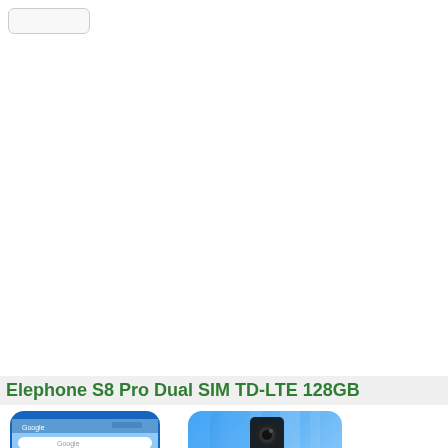Elephone S8 Pro Dual SIM TD-LTE 128GB
[Figure (photo): Front and back views of the Elephone S8 Pro smartphone in blue color. Front view shows the Android home screen with time 14:17, back view shows the dual camera setup and Elephone logo.]
Pro version of the Elephone S8 with Qualcomm CPU.., 2018 Feb 11, Android, Qualcomm Snapdragon 660 SDM660, 6 GiB RAM, 128 GB ROM, 6 inch, 1440x2560, AM-OLED display, Dual standby, NFC: Yes, GPS, 13.0 MP camera, 13.0 MP aux. cam, 8.0 MP sec. cam, L sensor, P sensor, Hall, FP sensor, 4000 mAh